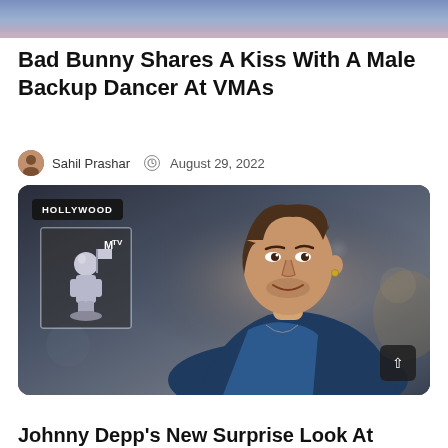[Figure (photo): Cropped top banner image showing colorful background, partial scene]
Bad Bunny Shares A Kiss With A Male Backup Dancer At VMAs
Sahil Prashar  August 29, 2022
[Figure (photo): Main image showing a man (Johnny Depp) in blue blazer smiling, with a HOLLYWOOD badge and small inset card showing an MTV moonman award statue in the upper left corner. A scroll-up button is visible at bottom right.]
Johnny Depp's New Surprise Look At